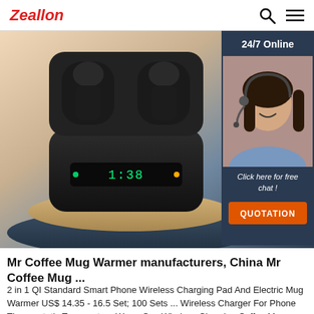Zeallon
[Figure (photo): Product hero image showing black wireless earbuds charging case with digital display, placed on tan and dark blue pedestals, with a customer service widget overlay showing '24/7 Online', a female customer service agent with headset, 'Click here for free chat!' text, and an orange QUOTATION button.]
Mr Coffee Mug Warmer manufacturers, China Mr Coffee Mug ...
2 in 1 QI Standard Smart Phone Wireless Charging Pad And Electric Mug Warmer US$ 14.35 - 16.5 Set; 100 Sets ... Wireless Charger For Phone Thermostatic Temperature Warm Cup Wireless Charging Coffee Mug Warmer US$ 13.25 - 16.5 Piece; 1 Piece (Min